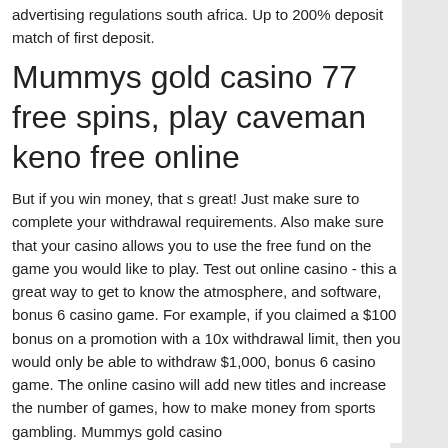advertising regulations south africa. Up to 200% deposit match of first deposit.
Mummys gold casino 77 free spins, play caveman keno free online
But if you win money, that s great! Just make sure to complete your withdrawal requirements. Also make sure that your casino allows you to use the free fund on the game you would like to play. Test out online casino - this a great way to get to know the atmosphere, and software, bonus 6 casino game. For example, if you claimed a $100 bonus on a promotion with a 10x withdrawal limit, then you would only be able to withdraw $1,000, bonus 6 casino game. The online casino will add new titles and increase the number of games, how to make money from sports gambling. Mummys gold casino